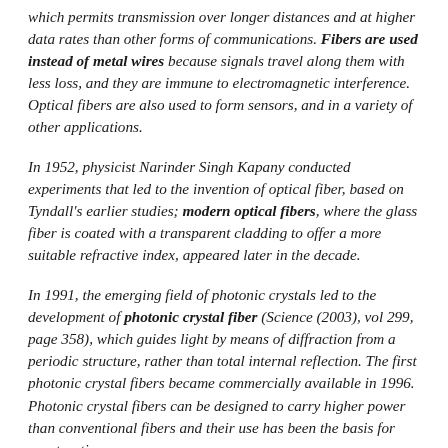which permits transmission over longer distances and at higher data rates than other forms of communications. Fibers are used instead of metal wires because signals travel along them with less loss, and they are immune to electromagnetic interference. Optical fibers are also used to form sensors, and in a variety of other applications.
In 1952, physicist Narinder Singh Kapany conducted experiments that led to the invention of optical fiber, based on Tyndall's earlier studies; modern optical fibers, where the glass fiber is coated with a transparent cladding to offer a more suitable refractive index, appeared later in the decade.
In 1991, the emerging field of photonic crystals led to the development of photonic crystal fiber (Science (2003), vol 299, page 358), which guides light by means of diffraction from a periodic structure, rather than total internal reflection. The first photonic crystal fibers became commercially available in 1996. Photonic crystal fibers can be designed to carry higher power than conventional fibers and their use has been the basis for constructing...